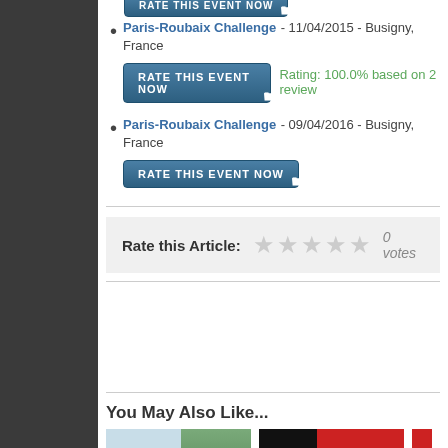Paris-Roubaix Challenge - 11/04/2015 - Busigny, France  Rating: 100.0% based on 2 reviews
Paris-Roubaix Challenge - 09/04/2016 - Busigny, France
Rate this Article:  ★★★★★  0 votes
You May Also Like...
[Figure (photo): Two thumbnail images: one showing a Paris arch with trees, one dark/red image]